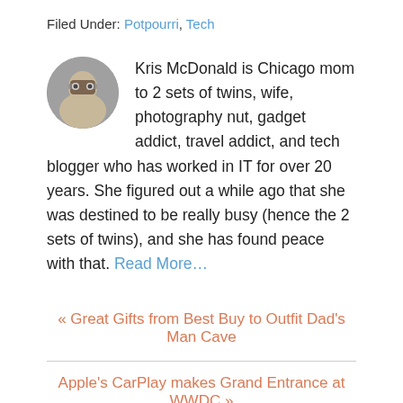Filed Under: Potpourri, Tech
Kris McDonald is Chicago mom to 2 sets of twins, wife, photography nut, gadget addict, travel addict, and tech blogger who has worked in IT for over 20 years. She figured out a while ago that she was destined to be really busy (hence the 2 sets of twins), and she has found peace with that. Read More…
« Great Gifts from Best Buy to Outfit Dad's Man Cave
Apple's CarPlay makes Grand Entrance at WWDC »